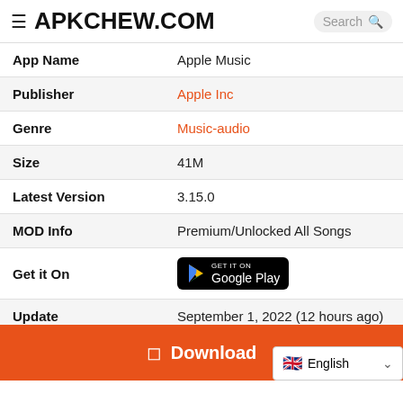≡ APKCHEW.COM  Search 🔍
| Field | Value |
| --- | --- |
| App Name | Apple Music |
| Publisher | Apple Inc |
| Genre | Music-audio |
| Size | 41M |
| Latest Version | 3.15.0 |
| MOD Info | Premium/Unlocked All Songs |
| Get it On | [Google Play button] |
| Update | September 1, 2022 (12 hours ago) |
Download